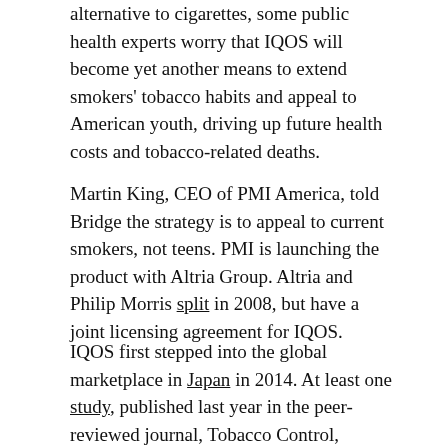alternative to cigarettes, some public health experts worry that IQOS will become yet another means to extend smokers' tobacco habits and appeal to American youth, driving up future health costs and tobacco-related deaths.
Martin King, CEO of PMI America, told Bridge the strategy is to appeal to current smokers, not teens. PMI is launching the product with Altria Group. Altria and Philip Morris split in 2008, but have a joint licensing agreement for IQOS.
IQOS first stepped into the global marketplace in Japan in 2014. At least one study, published last year in the peer-reviewed journal, Tobacco Control, suggests that the IQOS did, in fact, cut into traditional smoking rates, with cigarette sales beginning to “substantially decline” after the introduction of IQOS in all 11 areas in Japan researchers examined.